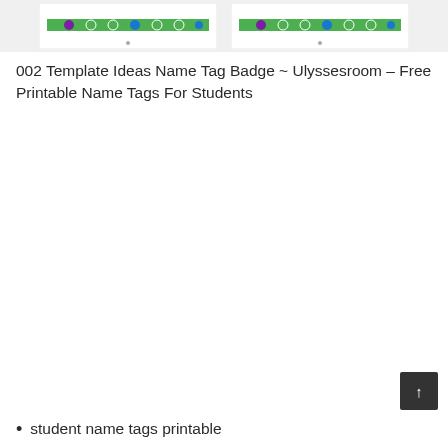[Figure (illustration): Two name tag badge templates side by side, each with a green horizontal bar with colorful dots (green, blue, purple), shown on a light gray background]
002 Template Ideas Name Tag Badge ~ Ulyssesroom – Free Printable Name Tags For Students
student name tags printable